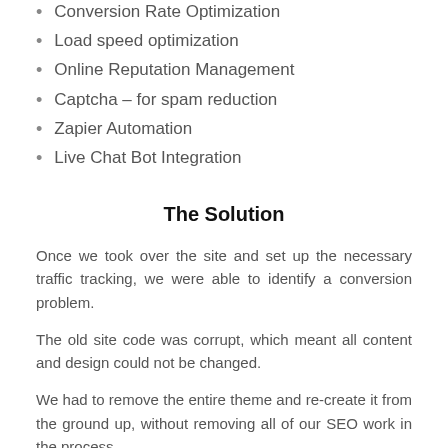Conversion Rate Optimization
Load speed optimization
Online Reputation Management
Captcha – for spam reduction
Zapier Automation
Live Chat Bot Integration
The Solution
Once we took over the site and set up the necessary traffic tracking, we were able to identify a conversion problem.
The old site code was corrupt, which meant all content and design could not be changed.
We had to remove the entire theme and re-create it from the ground up, without removing all of our SEO work in the process.
We discovered that the contact form was practically useless